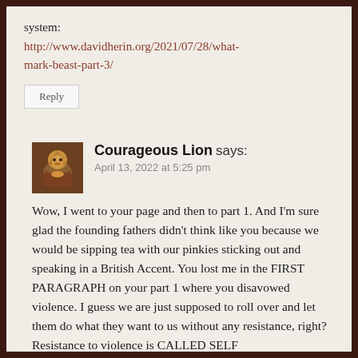system:
http://www.davidherin.org/2021/07/28/what-mark-beast-part-3/
Reply
Courageous Lion says:
April 13, 2022 at 5:25 pm
Wow, I went to your page and then to part 1. And I'm sure glad the founding fathers didn't think like you because we would be sipping tea with our pinkies sticking out and speaking in a British Accent. You lost me in the FIRST PARAGRAPH on your part 1 where you disavowed violence. I guess we are just supposed to roll over and let them do what they want to us without any resistance, right? Resistance to violence is CALLED SELF